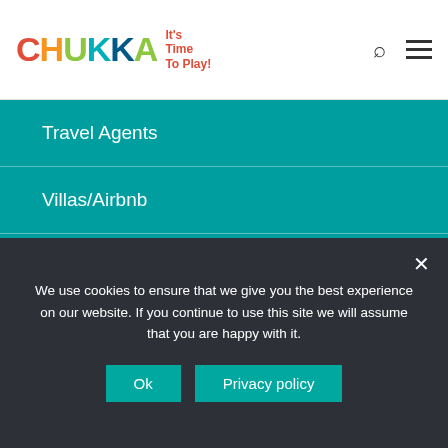CHUKKA It's Time To Play!
Travel Agents
Villas/Airbnb
Drivers
Social Media Influencers
Bloggers
Discover Chukka
We use cookies to ensure that we give you the best experience on our website. If you continue to use this site we will assume that you are happy with it.
Ok   Privacy policy